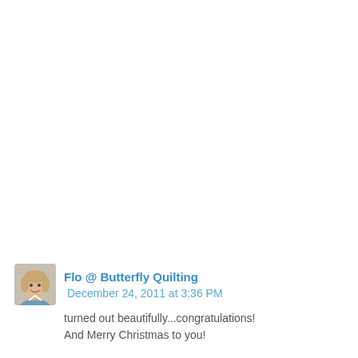[Figure (photo): Avatar photo of a smiling woman with short blonde hair]
Flo @ Butterfly Quilting  December 24, 2011 at 3:36 PM
turned out beautifully...congratulations!
And Merry Christmas to you!